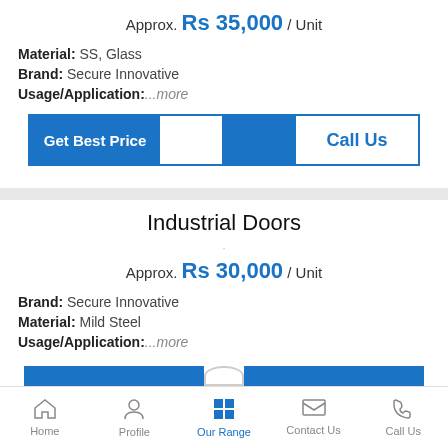Approx. Rs 35,000 / Unit
Material: SS, Glass
Brand: Secure Innovative
Usage/Application: ...more
Get Best Price | Call Us
Industrial Doors
Approx. Rs 30,000 / Unit
Brand: Secure Innovative
Material: Mild Steel
Usage/Application: ...more
Home | Profile | Our Range | Contact Us | Call Us